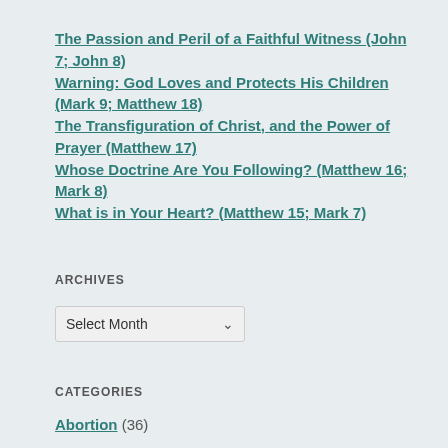The Passion and Peril of a Faithful Witness (John 7; John 8)
Warning: God Loves and Protects His Children (Mark 9; Matthew 18)
The Transfiguration of Christ, and the Power of Prayer (Matthew 17)
Whose Doctrine Are You Following? (Matthew 16; Mark 8)
What is in Your Heart? (Matthew 15; Mark 7)
ARCHIVES
Select Month
CATEGORIES
Abortion (36)